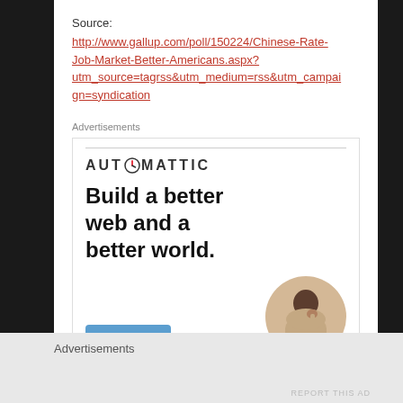Source:
http://www.gallup.com/poll/150224/Chinese-Rate-Job-Market-Better-Americans.aspx?utm_source=tagrss&utm_medium=rss&utm_campaign=syndication
Advertisements
[Figure (screenshot): Automattic advertisement: logo reading AUTOMATTIC, tagline 'Build a better web and a better world.', an Apply button, and a circular photo of a person thinking.]
Advertisements